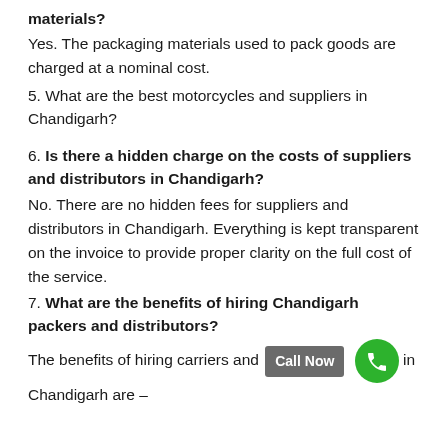materials?
Yes. The packaging materials used to pack goods are charged at a nominal cost.
5. What are the best motorcycles and suppliers in Chandigarh?
6. Is there a hidden charge on the costs of suppliers and distributors in Chandigarh?
No. There are no hidden fees for suppliers and distributors in Chandigarh. Everything is kept transparent on the invoice to provide proper clarity on the full cost of the service.
7. What are the benefits of hiring Chandigarh packers and distributors?
The benefits of hiring carriers and [Call Now] in Chandigarh are –